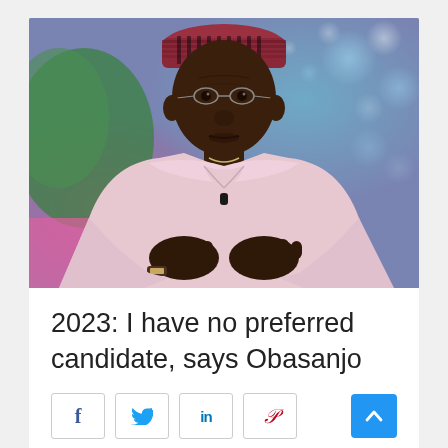[Figure (photo): Elderly man wearing a pink traditional Nigerian agbada and a striped pink/maroon cap with glasses, sitting with hands clasped, in front of a blurred colorful background with bokeh lights.]
2023: I have no preferred candidate, says Obasanjo
Social share buttons: Facebook, Twitter, LinkedIn, Pinterest; Scroll to top button